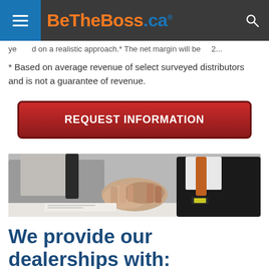BeTheBoss.ca
ye...d on a realistic approach.* The net margin will be... 2...
* Based on average revenue of select surveyed distributors and is not a guarantee of revenue.
REQUEST INFORMATION
[Figure (photo): Two businessmen shaking hands over a desk with documents]
We provide our dealerships with: